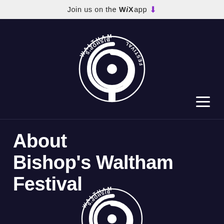Join us on the WiX app ⬇
[Figure (logo): Waltham Bishop's Festival circular swirl logo in white on dark navy background, with text WALTHAM arched at top, BISHOP'S on left, FESTIVAL on right, and a stylized swirl/whistle in the center]
About Bishop's Waltham Festival
[Figure (logo): Waltham Festival circular swirl logo, partially cropped at bottom of page, white on dark navy background]